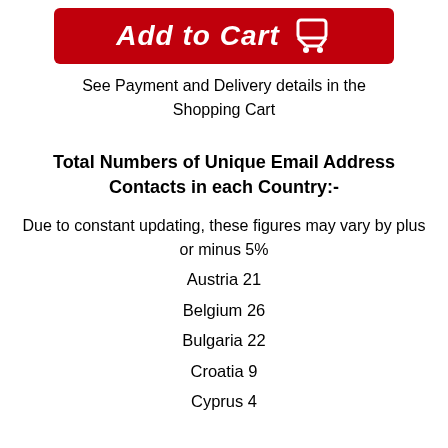[Figure (other): Red 'Add to Cart' button with shopping cart icon]
See Payment and Delivery details in the Shopping Cart
Total Numbers of Unique Email Address Contacts in each Country:-
Due to constant updating, these figures may vary by plus or minus 5%
Austria 21
Belgium 26
Bulgaria 22
Croatia 9
Cyprus 4